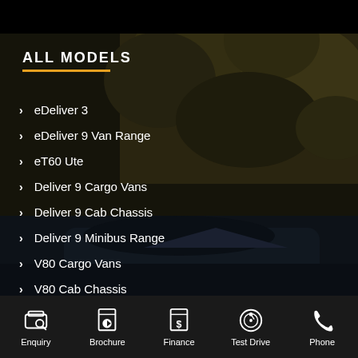ALL MODELS
eDeliver 3
eDeliver 9 Van Range
eT60 Ute
Deliver 9 Cargo Vans
Deliver 9 Cab Chassis
Deliver 9 Minibus Range
V80 Cargo Vans
V80 Cab Chassis
Enquiry  Brochure  Finance  Test Drive  Phone